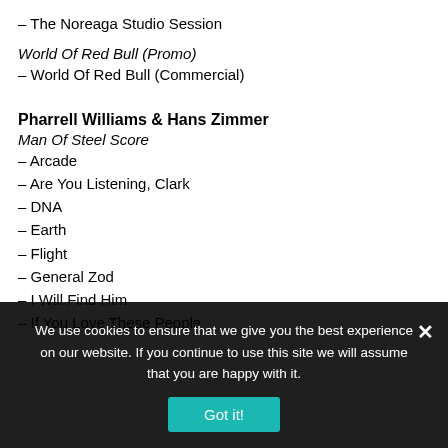– The Noreaga Studio Session
World Of Red Bull (Promo)
– World Of Red Bull (Commercial)
Pharrell Williams & Hans Zimmer
Man Of Steel Score
– Arcade
– Are You Listening, Clark
– DNA
– Earth
– Flight
– General Zod
– I Will Find Him
– If You Love These People
We use cookies to ensure that we give you the best experience on our website. If you continue to use this site we will assume that you are happy with it.